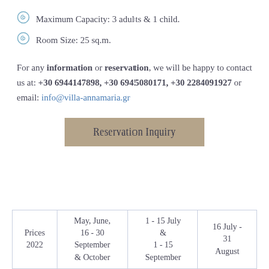Maximum Capacity: 3 adults & 1 child.
Room Size: 25 sq.m.
For any information or reservation, we will be happy to contact us at: +30 6944147898, +30 6945080171, +30 2284091927 or email: info@villa-annamaria.gr
Reservation Inquiry
| Prices 2022 | May, June, 16 - 30 September & October | 1 - 15 July & 1 - 15 September | 16 July - 31 August |
| --- | --- | --- | --- |